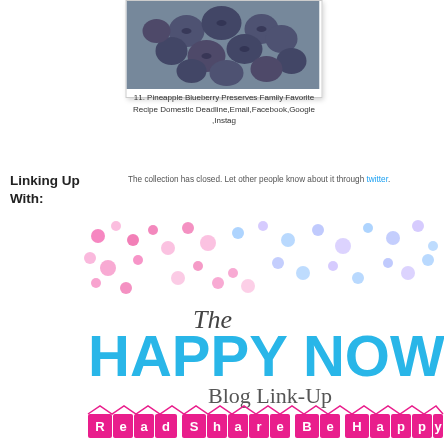[Figure (photo): Close-up photo of blueberries on a blue textured surface inside a white card frame]
11. Pineapple Blueberry Preserves Family Favorite Recipe Domestic Deadline,Email,Facebook,Google ,Instag
Linking Up With:
The collection has closed. Let other people know about it through twitter.
[Figure (logo): The Happy Now Blog Link-Up banner with colorful confetti dots and text 'The HAPPY NOW Blog Link-Up' with 'Read Share Be Happy' at the bottom in pink blocks]